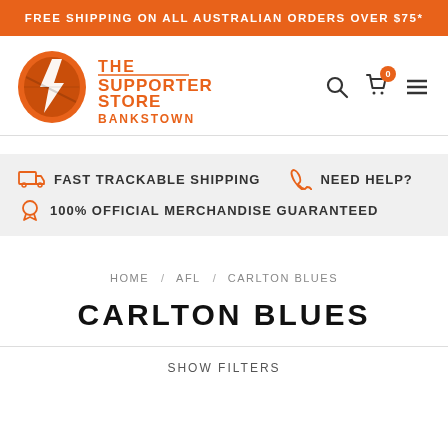FREE SHIPPING ON ALL AUSTRALIAN ORDERS OVER $75*
[Figure (logo): The Supporter Store Bankstown logo — orange shield with lightning bolt and orange text]
FAST TRACKABLE SHIPPING   NEED HELP?   100% OFFICIAL MERCHANDISE GUARANTEED
HOME / AFL / CARLTON BLUES
CARLTON BLUES
SHOW FILTERS